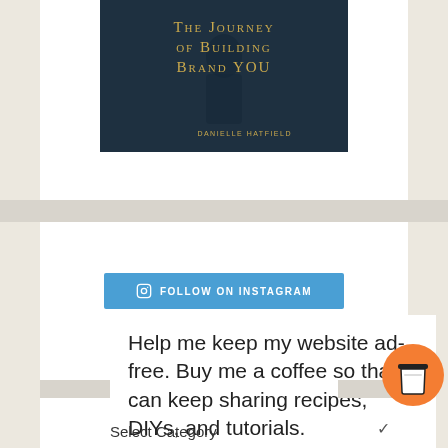[Figure (illustration): Book cover for 'The Journey of Building Brand YOU' by Danielle Hatfield. Dark teal/navy background with gold serif text for the title and small gold author name at bottom right.]
[Figure (other): Blue button with Instagram icon and text 'FOLLOW ON INSTAGRAM']
Help me keep my website ad-free. Buy me a coffee so that I can keep sharing recipes, DIYs, and tutorials.
[Figure (illustration): Orange circle with a coffee cup icon (buy me a coffee widget)]
Select Category